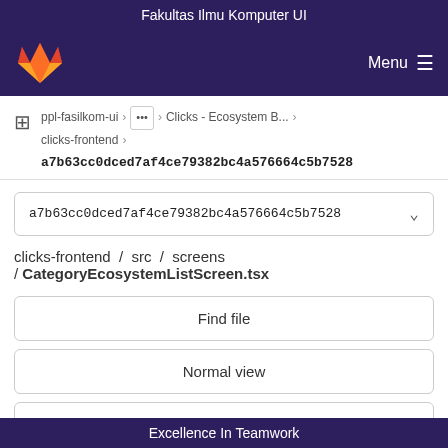Fakultas Ilmu Komputer UI
[Figure (screenshot): GitLab navigation bar with fox logo on left and Menu hamburger icon on right, dark purple background]
ppl-fasilkom-ui > ... > Clicks - Ecosystem B... > clicks-frontend > a7b63cc0dced7af4ce79382bc4a576664c5b7528
a7b63cc0dced7af4ce79382bc4a576664c5b7528
clicks-frontend / src / screens / CategoryEcosystemListScreen.tsx
Find file
Normal view
History
Permalink
Excellence In Teamwork